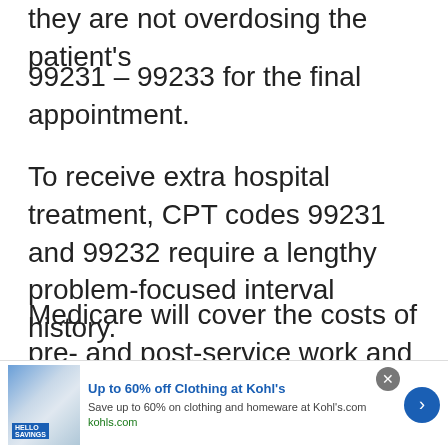they are not overdosing the patient's
99231 – 99233 for the final appointment.
To receive extra hospital treatment, CPT codes 99231 and 99232 require a lengthy problem-focused interval history.
Medicare will cover the costs of pre- and post-service work and the documentation
[Figure (infographic): Advertisement banner: Up to 60% off Clothing at Kohl's. Save up to 60% on clothing and homeware at Kohl's.com. kohls.com]